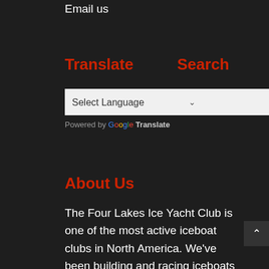Email us
Translate
Search
Powered by Google Translate
About Us
The Four Lakes Ice Yacht Club is one of the most active iceboat clubs in North America. We've been building and racing iceboats for over 100 years in Madison, Wisconsin, USA. We sail on Lake Kegonsa, Lake Monona, and Lake Mendota. We also join with other ice yacht clubs to compete in regattas on lakes around the world.